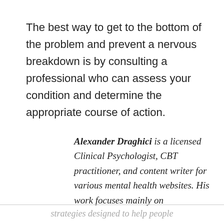The best way to get to the bottom of the problem and prevent a nervous breakdown is by consulting a professional who can assess your condition and determine the appropriate course of action.
Alexander Draghici is a licensed Clinical Psychologist, CBT practitioner, and content writer for various mental health websites. His work focuses mainly on
strategies designed to help people